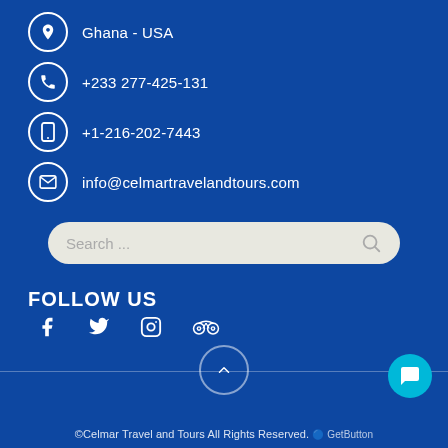Ghana - USA
+233 277-425-131
+1-216-202-7443
info@celmartravelandtours.com
[Figure (other): Search bar with placeholder text 'Search ...' and a search icon]
FOLLOW US
[Figure (infographic): Social media icons row: Facebook, Twitter, Instagram, TripAdvisor]
©Celmar Travel and Tours All Rights Reserved.